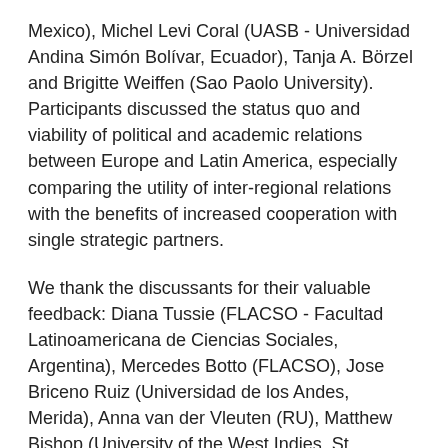Mexico), Michel Levi Coral (UASB - Universidad Andina Simón Bolívar, Ecuador), Tanja A. Börzel and Brigitte Weiffen (Sao Paolo University). Participants discussed the status quo and viability of political and academic relations between Europe and Latin America, especially comparing the utility of inter-regional relations with the benefits of increased cooperation with single strategic partners.
We thank the discussants for their valuable feedback: Diana Tussie (FLACSO - Facultad Latinoamericana de Ciencias Sociales, Argentina), Mercedes Botto (FLACSO), Jose Briceno Ruiz (Universidad de los Andes, Merida), Anna van der Vleuten (RU), Matthew Bishop (University of the West Indies, St. Augustine), Lorena Ruano Gómez (CIDE), Michel Levi Coral (UASB), and Miriam Gomes Saraiva (Universidade do Estado do Rio de Janeiro).
Next up is a two-day event at University of Pretoria